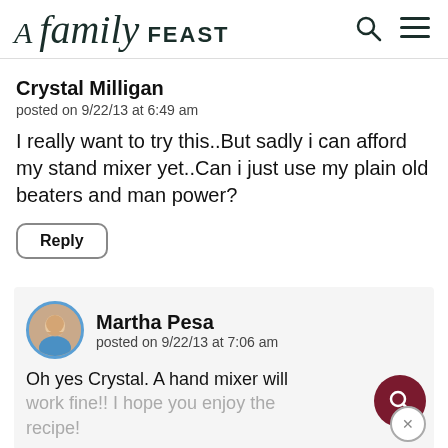A family FEAST
Crystal Milligan
posted on 9/22/13 at 6:49 am
I really want to try this..But sadly i can afford my stand mixer yet..Can i just use my plain old beaters and man power?
Reply
Martha Pesa
posted on 9/22/13 at 7:06 am
Oh yes Crystal. A hand mixer will work fine!! I hope you enjoy the recipe!